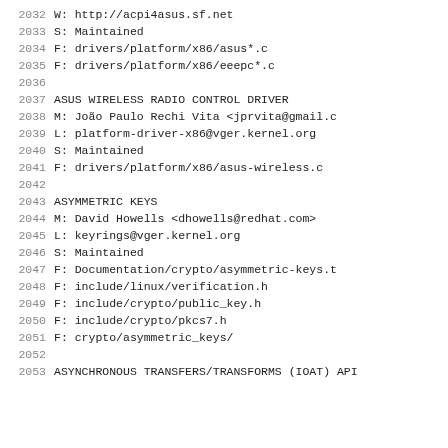2032	W:	http://acpi4asus.sf.net
2033	S:	Maintained
2034	F:	drivers/platform/x86/asus*.c
2035	F:	drivers/platform/x86/eeepc*.c
2036
2037	ASUS WIRELESS RADIO CONTROL DRIVER
2038	M:	João Paulo Rechi Vita <jprvita@gmail.c
2039	L:	platform-driver-x86@vger.kernel.org
2040	S:	Maintained
2041	F:	drivers/platform/x86/asus-wireless.c
2042
2043	ASYMMETRIC KEYS
2044	M:	David Howells <dhowells@redhat.com>
2045	L:	keyrings@vger.kernel.org
2046	S:	Maintained
2047	F:	Documentation/crypto/asymmetric-keys.t
2048	F:	include/linux/verification.h
2049	F:	include/crypto/public_key.h
2050	F:	include/crypto/pkcs7.h
2051	F:	crypto/asymmetric_keys/
2052
2053	ASYNCHRONOUS TRANSFERS/TRANSFORMS (IOAT) API